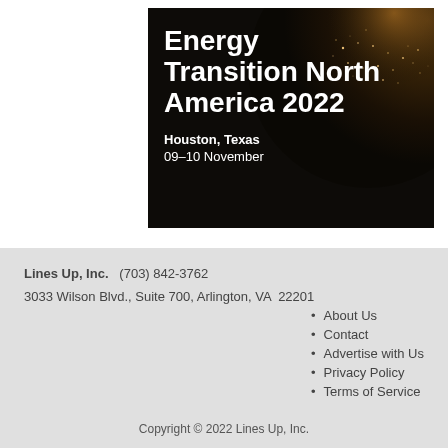[Figure (illustration): Banner image for 'Energy Transition North America 2022' event in Houston, Texas, 09-10 November. Dark background with glowing earth/city lights imagery. White bold title text and event details overlaid.]
Lines Up, Inc.  (703) 842-3762
3033 Wilson Blvd., Suite 700, Arlington, VA  22201
About Us
Contact
Advertise with Us
Privacy Policy
Terms of Service
Copyright © 2022 Lines Up, Inc.